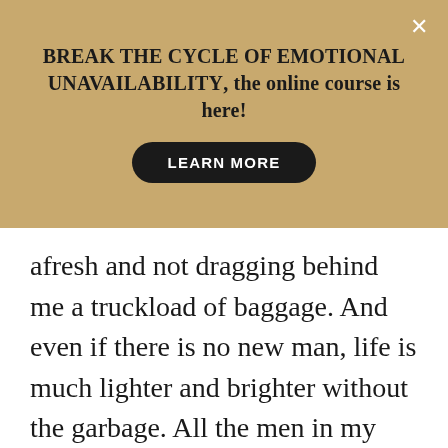BREAK THE CYCLE OF EMOTIONAL UNAVAILABILITY, the online course is here!
LEARN MORE
afresh and not dragging behind me a truckload of baggage. And even if there is no new man, life is much lighter and brighter without the garbage. All the men in my life – colleagues, my brothers, men at church – treat me with love and/or respect. It's been the final stop to any grieving over